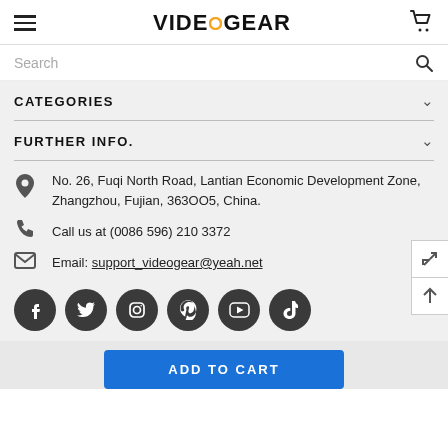VIDEOGEAR
Search
CATEGORIES
FURTHER INFO.
No. 26, Fuqi North Road, Lantian Economic Development Zone, Zhangzhou, Fujian, 363OO5, China.
Call us at (0086 596) 210 3372
Email: support_videogear@yeah.net
[Figure (logo): Social media icon buttons: Facebook, Twitter, Instagram, Pinterest, YouTube, TikTok]
ADD TO CART